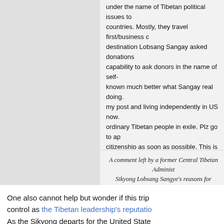under the name of Tibetan political issues to countries. Mostly, they travel first/business c destination Lobsang Sangay asked donations capability to ask donors in the name of self- known much better what Sangay real doing. my post and living independently in US now. ordinary Tibetan people in exile. Plz go to ap citizenship as soon as possible. This is only w children survive a better life. Don't listen CTA when you don't have money to pay your chil help you. When your father got serious sickn your mother died CTA can't help you. But, CT in name of seeking help for Tibetans. That do the end. Therefore, do something for yoursel This is real experience that I got from CTA in to earth. Don't waste your life in CTA's misus
Reply
A comment left by a former Central Tibetan Administ Sikyong Lobsang Sangye's reasons for traveling ar serving and nefarious. Click
One also cannot help but wonder if this trip control as the Tibetan leadership's reputatio As the Sikyong departs for the United State community in India who are more isolated t